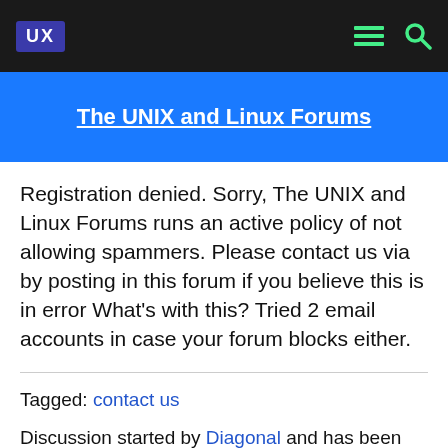UX | The UNIX and Linux Forums
The UNIX and Linux Forums
Registration denied. Sorry, The UNIX and Linux Forums runs an active policy of not allowing spammers. Please contact us via by posting in this forum if you believe this is in error What's with this? Tried 2 email accounts in case your forum blocks either.
Tagged: contact us
Discussion started by Diagonal and has been viewed 4,839 times.
There has been 1 reply in this discussion.